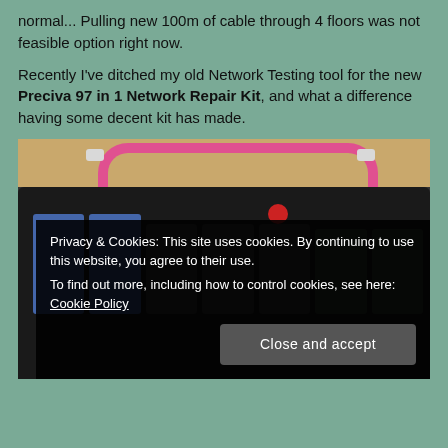normal... Pulling new 100m of cable through 4 floors was not feasible option right now.
Recently I've ditched my old Network Testing tool for the new Preciva 97 in 1 Network Repair Kit, and what a difference having some decent kit has made.
[Figure (photo): Photo of an open black network repair kit tool bag laid flat, showing multiple tool pockets containing various networking tools including crimping tools and accessories. A pink/magenta ethernet cable is visible in the background on a wooden surface.]
Privacy & Cookies: This site uses cookies. By continuing to use this website, you agree to their use.
To find out more, including how to control cookies, see here: Cookie Policy